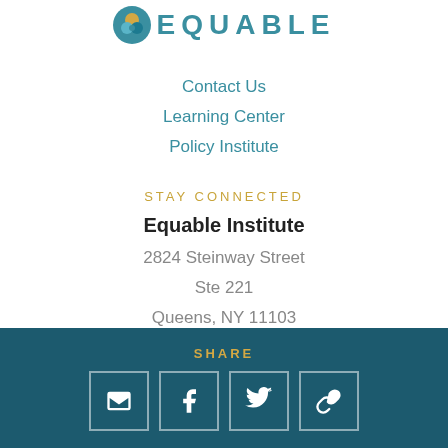[Figure (logo): Equable logo with teal circular icon and bold teal letters EQUABLE]
Contact Us
Learning Center
Policy Institute
STAY CONNECTED
Equable Institute
2824 Steinway Street
Ste 221
Queens, NY 11103
[Figure (infographic): Social media icons: Facebook, Twitter, Instagram, LinkedIn, and another icon]
SHARE
[Figure (infographic): Share buttons: Email, Facebook, Twitter, Link/Chain icon]